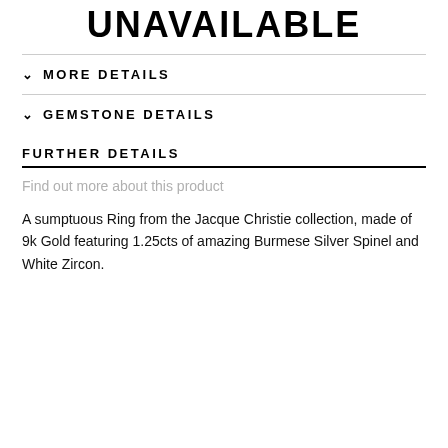UNAVAILABLE
MORE DETAILS
GEMSTONE DETAILS
FURTHER DETAILS
Find out more about this product
A sumptuous Ring from the Jacque Christie collection, made of 9k Gold featuring 1.25cts of amazing Burmese Silver Spinel and White Zircon.